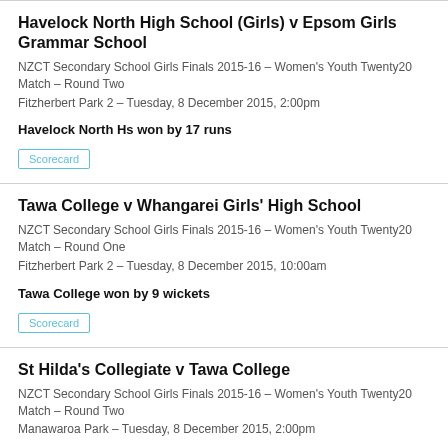Havelock North High School (Girls) v Epsom Girls Grammar School
NZCT Secondary School Girls Finals 2015-16 – Women's Youth Twenty20 Match – Round Two
Fitzherbert Park 2  –  Tuesday, 8 December 2015, 2:00pm
Havelock North Hs won by 17 runs
Scorecard
Tawa College v Whangarei Girls' High School
NZCT Secondary School Girls Finals 2015-16 – Women's Youth Twenty20 Match – Round One
Fitzherbert Park 2  –  Tuesday, 8 December 2015, 10:00am
Tawa College won by 9 wickets
Scorecard
St Hilda's Collegiate v Tawa College
NZCT Secondary School Girls Finals 2015-16 – Women's Youth Twenty20 Match – Round Two
Manawaroa Park  –  Tuesday, 8 December 2015, 2:00pm
Tawa College won by 52 runs
Scorecard
St Hilda's Collegiate v Havelock North High School (Girls)